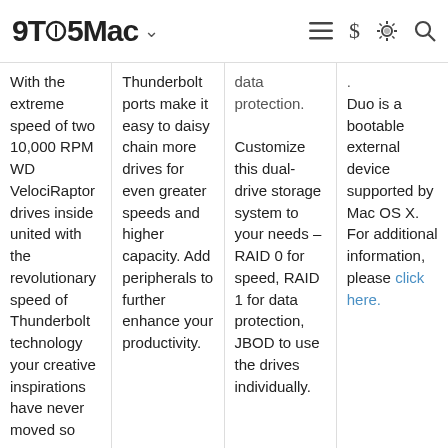9TO5Mac
With the extreme speed of two 10,000 RPM WD VelociRaptor drives inside united with the revolutionary speed of Thunderbolt technology your creative inspirations have never moved so
Thunderbolt ports make it easy to daisy chain more drives for even greater speeds and higher capacity. Add peripherals to further enhance your productivity.
data protection.

Customize this dual-drive storage system to your needs – RAID 0 for speed, RAID 1 for data protection, JBOD to use the drives individually.
Duo is a bootable external device supported by Mac OS X. For additional information, please click here.